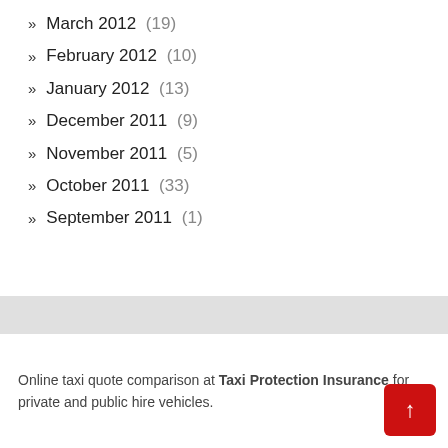March 2012 (19)
February 2012 (10)
January 2012 (13)
December 2011 (9)
November 2011 (5)
October 2011 (33)
September 2011 (1)
Online taxi quote comparison at Taxi Protection Insurance for private and public hire vehicles.